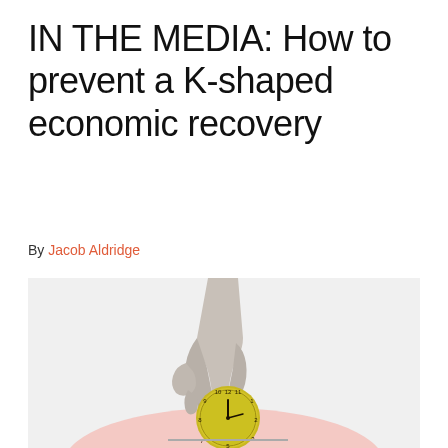IN THE MEDIA: How to prevent a K-shaped economic recovery
By Jacob Aldridge
[Figure (illustration): A hand holding a small yellow clock against a light grey background, with a pink arc shape visible at the bottom of the image.]